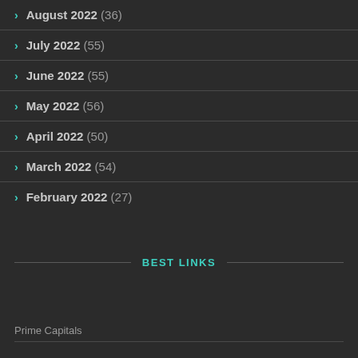August 2022 (36)
July 2022 (55)
June 2022 (55)
May 2022 (56)
April 2022 (50)
March 2022 (54)
February 2022 (27)
BEST LINKS
Prime Capitals